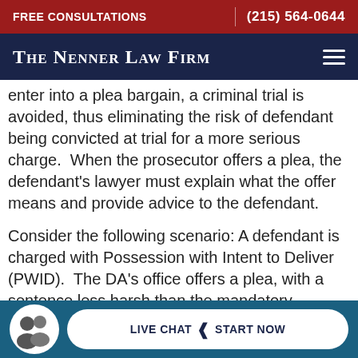FREE CONSULTATIONS | (215) 564-0644
The Nenner Law Firm
enter into a plea bargain, a criminal trial is avoided, thus eliminating the risk of defendant being convicted at trial for a more serious charge.  When the prosecutor offers a plea, the defendant's lawyer must explain what the offer means and provide advice to the defendant.
Consider the following scenario: A defendant is charged with Possession with Intent to Deliver (PWID).  The DA's office offers a plea, with a sentence less harsh than the mandatory sentencing. Defenda  lawy  (text cut off)